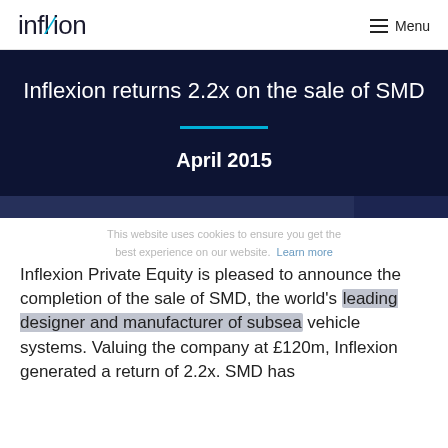inflexion   Menu
Inflexion returns 2.2x on the sale of SMD
April 2015
This website uses cookies to ensure you get the best experience on our website. Learn more
Inflexion Private Equity is pleased to announce the completion of the sale of SMD, the world's leading designer and manufacturer of subsea vehicle systems. Valuing the company at £120m, Inflexion generated a return of 2.2x. SMD has